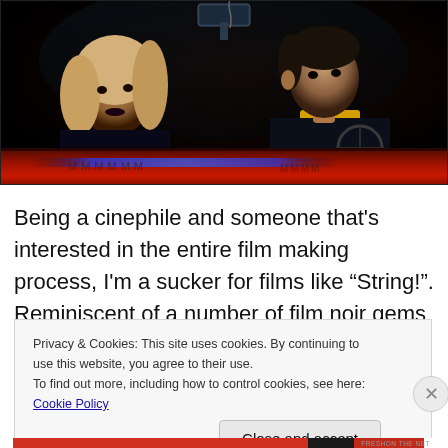[Figure (photo): Dark film noir style scene showing two people inside a car at night. A woman with light hair is on the left side, and a man in a yellow-collared jacket is on the right holding the steering wheel. The car hood is red, visible at the bottom, with a blue reflection. A rearview mirror is visible at the top center.]
Being a cinephile and someone that's interested in the entire film making process, I'm a sucker for films like “String!”. Reminiscent of a number of film noir gems and
Privacy & Cookies: This site uses cookies. By continuing to use this website, you agree to their use.
To find out more, including how to control cookies, see here: Cookie Policy
Close and accept